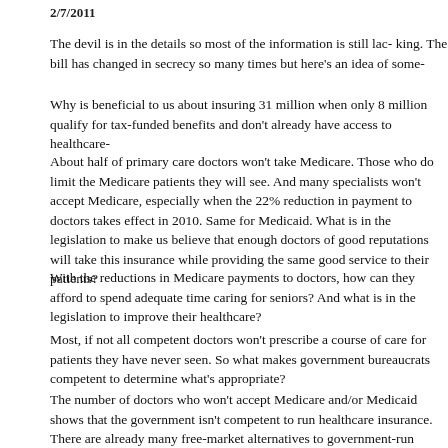2/7/2011
The devil is in the details so most of the information is still lacking. The bill has changed in secrecy so many times but here's an idea of some-
Why is beneficial to us about insuring 31 million when only 8 million qualify for tax-funded benefits and don't already have access to healthcare-
About half of primary care doctors won't take Medicare. Those that do limit the Medicare patients they will see. And many specialists won't accept Medicare, especially when the 22% reduction in payment to doctors takes effect in 2010. Same for Medicaid. What is in the legislation to make us believe that enough doctors of good reputations will take this insurance while providing the same good service to their patients?
With the reductions in Medicare payments to doctors, how can they afford to spend adequate time caring for seniors? And what is in the legislation to improve their healthcare?
Most, if not all competent doctors won't prescribe a course of care for patients they have never seen. So what makes government bureaucrats competent to determine what's appropriate?
The number of doctors who won't accept Medicare and/or Medicaid shows that the government isn't competent to run healthcare insurance. There are already many free-market alternatives to government-run healthcare that work well. What guarantee of better outcomes can government run healthcare give?